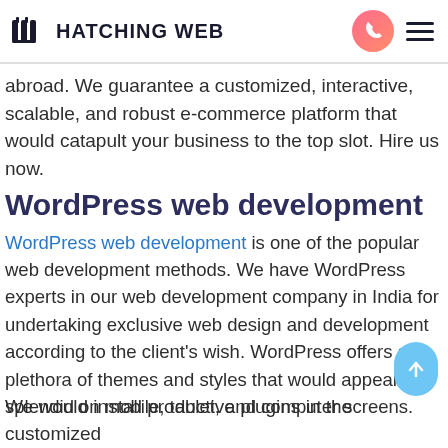HATCHING WEB
abroad. We guarantee a customized, interactive, scalable, and robust e-commerce platform that would catapult your business to the top slot. Hire us now.
WordPress web development
WordPress web development is one of the popular web development methods. We have WordPress experts in our web development company in India for undertaking exclusive web design and development according to the client's wish. WordPress offers a plethora of themes and styles that would appear splendid on mobile, tablet, and computer screens.
We would install productive plugins in the customized